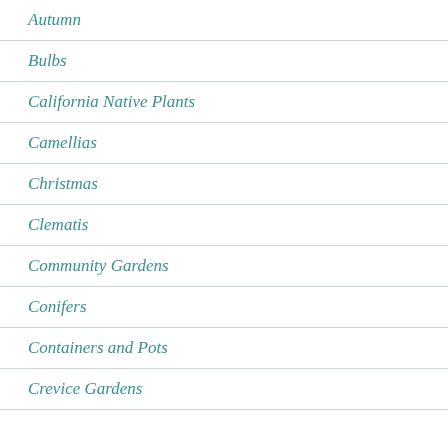Autumn
Bulbs
California Native Plants
Camellias
Christmas
Clematis
Community Gardens
Conifers
Containers and Pots
Crevice Gardens